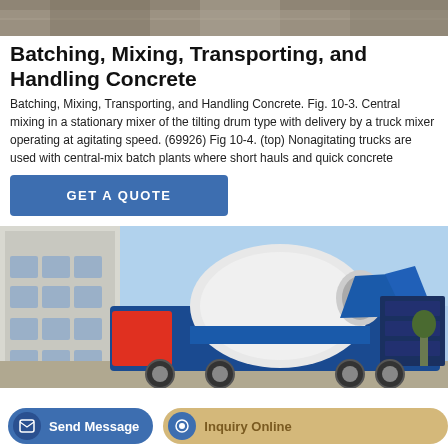[Figure (photo): Top partial photo of concrete mixing equipment or construction site, grey/brown tones, partially cropped at top of page.]
Batching, Mixing, Transporting, and Handling Concrete
Batching, Mixing, Transporting, and Handling Concrete. Fig. 10-3. Central mixing in a stationary mixer of the tilting drum type with delivery by a truck mixer operating at agitating speed. (69926) Fig 10-4. (top) Nonagitating trucks are used with central-mix batch plants where short hauls and quick concrete
[Figure (other): Blue 'GET A QUOTE' button with white text on blue background.]
[Figure (photo): Photo of a blue and white concrete truck mixer (drum mixer) parked near a building with blue sky in background.]
[Figure (other): Bottom UI bar with 'Send Message' button (blue, rounded) and 'Inquiry Online' button (tan/gold, rounded).]